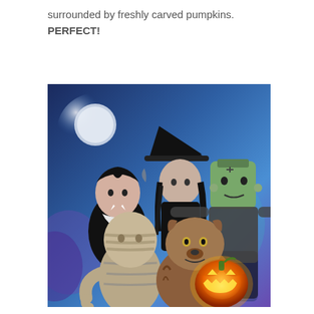surrounded by freshly carved pumpkins. PERFECT!
[Figure (photo): A Halloween-themed photo showing five people with their faces superimposed on Halloween monster costume bodies. The characters include Dracula (top left), a witch (top center), Frankenstein's monster (top right), a mummy (bottom left), and a werewolf (bottom center). A glowing jack-o'-lantern pumpkin sits in the bottom right corner. The background is a blue-purple Halloween night scene with a moon.]